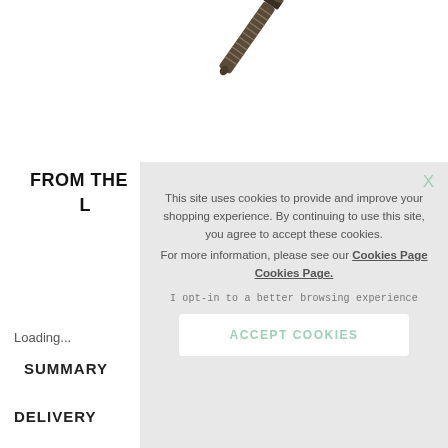[Figure (photo): A dark metal spring-loaded plunger / screw hardware component on a white background]
FROM THE
L
Loading...
SUMMARY
DELIVERY
This site uses cookies to provide and improve your shopping experience. By continuing to use this site, you agree to accept these cookies.
For more information, please see our Cookies Page Cookies Page.
I opt-in to a better browsing experience
ACCEPT COOKIES